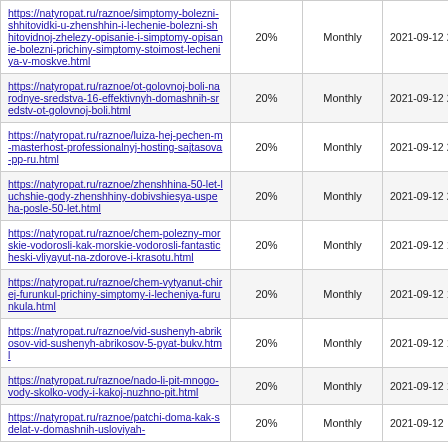| https://natyropat.ru/raznoe/simptomy-bolezni-shhitovidki-u-zhenshhin-i-lechenie-bolezni-shhitovidnoj-zhelezy-opisanie-i-simptomy-opisanie-bolezni-prichiny-simptomy-stoimost-lecheniya-v-moskve.html | 20% | Monthly | 2021-09-12 23:21 |
| https://natyropat.ru/raznoe/ot-golovnoj-boli-narodnye-sredstva-16-effektivnyh-domashnih-sredstv-ot-golovnoj-boli.html | 20% | Monthly | 2021-09-12 22:25 |
| https://natyropat.ru/raznoe/luiza-hej-pechen-m-masterhost-professionalnyj-hosting-sajtasova-pp-ru.html | 20% | Monthly | 2021-09-12 21:19 |
| https://natyropat.ru/raznoe/zhenshhina-50-let-luchshie-gody-zhenshhiny-dobivshiesya-uspeha-posle-50-let.html | 20% | Monthly | 2021-09-12 20:25 |
| https://natyropat.ru/raznoe/chem-polezny-morskie-vodorosli-kak-morskie-vodorosli-fantasticheski-vliyayut-na-zdorove-i-krasotu.html | 20% | Monthly | 2021-09-12 19:32 |
| https://natyropat.ru/raznoe/chem-vytyanut-chirej-furunkul-prichiny-simptomy-i-lecheniya-furunkula.html | 20% | Monthly | 2021-09-12 18:59 |
| https://natyropat.ru/raznoe/vid-sushenyh-abrikosov-vid-sushenyh-abrikosov-5-pyat-bukv.html | 20% | Monthly | 2021-09-12 18:00 |
| https://natyropat.ru/raznoe/nado-li-pit-mnogo-vody-skolko-vody-i-kakoj-nuzhno-pit.html | 20% | Monthly | 2021-09-12 17:20 |
| https://natyropat.ru/raznoe/patchi-doma-kak-sdelat-v-domashnih-usloviyah- | 20% | Monthly | 2021-09-12 |